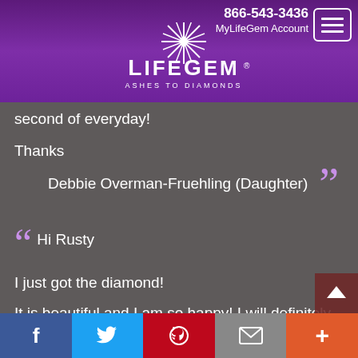866-543-3436 MyLifeGem Account
[Figure (logo): LifeGem Ashes to Diamonds logo with white starburst gem icon and text on purple background]
second of everyday!
Thanks
Debbie Overman-Fruehling (Daughter)
““ Hi Rusty
I just got the diamond!
It is beautiful and I am so happy! I will definitely